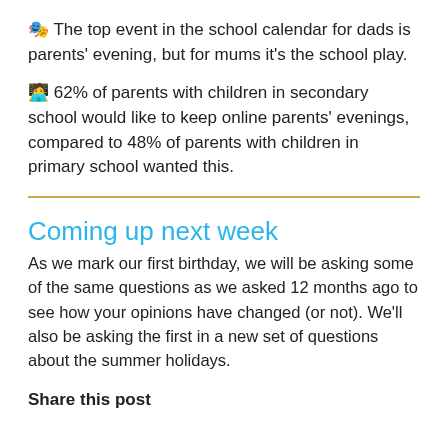🎭 The top event in the school calendar for dads is parents' evening, but for mums it's the school play.
🧑‍💻 62% of parents with children in secondary school would like to keep online parents' evenings, compared to 48% of parents with children in primary school wanted this.
Coming up next week
As we mark our first birthday, we will be asking some of the same questions as we asked 12 months ago to see how your opinions have changed (or not). We'll also be asking the first in a new set of questions about the summer holidays.
Share this post